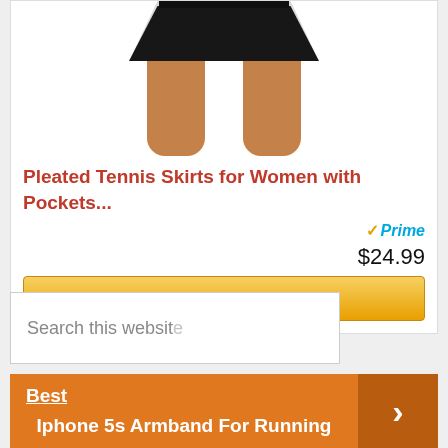[Figure (photo): Product photo of a black pleated tennis skirt worn by a woman, showing the lower torso and legs against a white background. Only partial image visible (cropped at top).]
Pleated Tennis Skirts for Women with Pockets...
[Figure (logo): Amazon Prime badge with orange checkmark and blue Prime text]
$24.99
Buy on Amazon
Search this website
Best  Iphone 5s Armband For Running